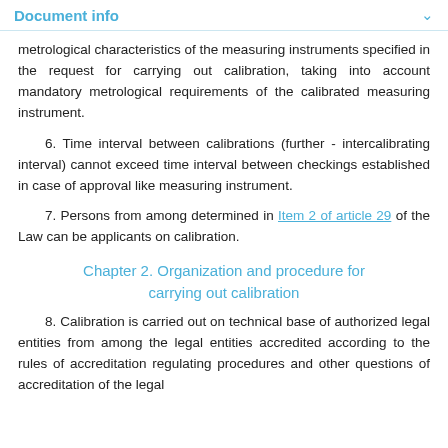Document info
metrological characteristics of the measuring instruments specified in the request for carrying out calibration, taking into account mandatory metrological requirements of the calibrated measuring instrument.
6. Time interval between calibrations (further - intercalibrating interval) cannot exceed time interval between checkings established in case of approval like measuring instrument.
7. Persons from among determined in Item 2 of article 29 of the Law can be applicants on calibration.
Chapter 2. Organization and procedure for carrying out calibration
8. Calibration is carried out on technical base of authorized legal entities from among the legal entities accredited according to the rules of accreditation regulating procedures and other questions of accreditation of the legal